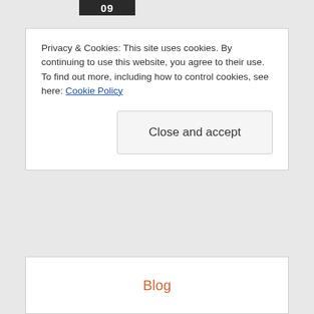09
Privacy & Cookies: This site uses cookies. By continuing to use this website, you agree to their use.
To find out more, including how to control cookies, see here: Cookie Policy
Close and accept
Blog